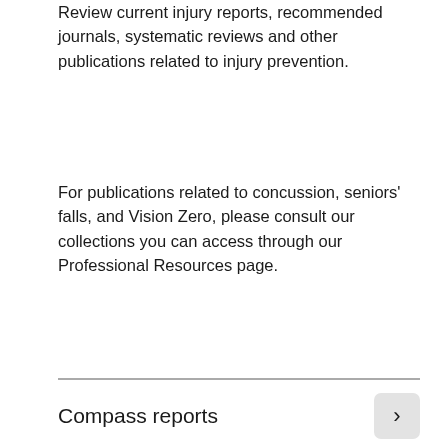Review current injury reports, recommended journals, systematic reviews and other publications related to injury prevention.
For publications related to concussion, seniors' falls, and Vision Zero, please consult our collections you can access through our Professional Resources page.
Compass reports
RESOURCES
Injury reports
Circumstances surrounding all-terrain vehicle (ATV) fatalities in Canada, 2013 to 2019